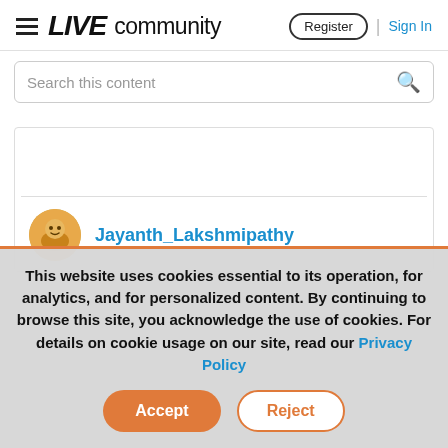≡ LIVEcommunity  Register | Sign In
Search this content
Jayanth_Lakshmipathy
This website uses cookies essential to its operation, for analytics, and for personalized content. By continuing to browse this site, you acknowledge the use of cookies. For details on cookie usage on our site, read our Privacy Policy